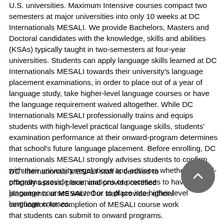U.S. universities. Maximum Intensive courses compact two semesters at major universities into only 10 weeks at DC Internationals MESALI. We provide Bachelors, Masters and Doctoral candidates with the knowledge, skills and abilities (KSAs) typically taught in two-semesters at four-year universities. Students can apply language skills learned at DC Internationals MESALI towards their university's language placement examinations, in order to place out of a year of language study, take higher-level language courses or have the language requirement waived altogether. While DC Internationals MESALI professionally trains and equips students with high-level practical language skills, students' examination performance at their onward-program determines that school's future language placement. Before enrolling, DC Internationals MESALI strongly advises students to confirm with their university regulations and advisors whether onward-programs provide examinations or processes to have the language courses waived or to place into higher-level language courses.
DC Internationals MESALI staff is certified to officially assess, place, and provide certified placements at MESALI. Our staff provides official certification for completion of MESALI course work that students can submit to onward programs.